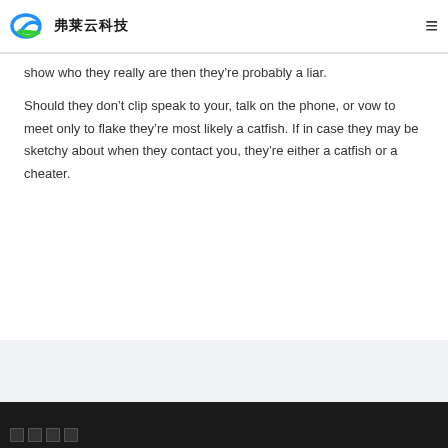弗莱云科技
show who they really are then they're probably a liar.
Should they don't clip speak to your, talk on the phone, or vow to meet only to flake they're most likely a catfish. If in case they may be sketchy about when they contact you, they're either a catfish or a cheater.